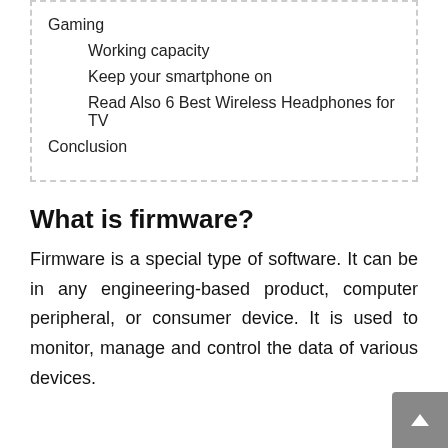Gaming
Working capacity
Keep your smartphone on
Read Also 6 Best Wireless Headphones for TV
Conclusion
What is firmware?
Firmware is a special type of software. It can be in any engineering-based product, computer peripheral, or consumer device. It is used to monitor, manage and control the data of various devices.